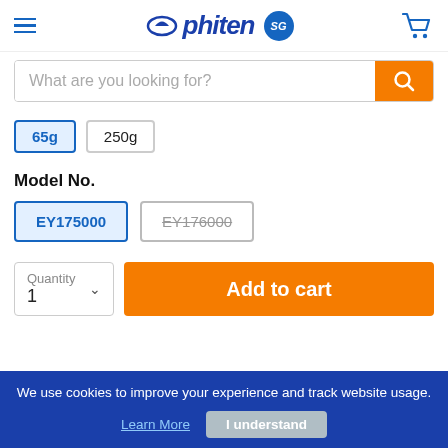Phiten SG - Navigation header with hamburger menu, logo, and cart icon
What are you looking for?
65g
250g
Model No.
EY175000
EY176000
Quantity 1
Add to cart
We use cookies to improve your experience and track website usage. Learn More  I understand